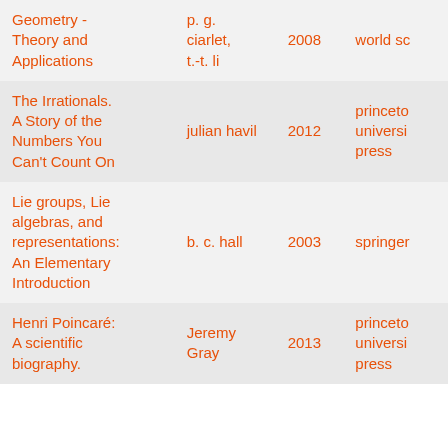| Title | Author | Year | Publisher |
| --- | --- | --- | --- |
| Geometry - Theory and Applications | p. g. ciarlet, t.-t. li | 2008 | world sc |
| The Irrationals. A Story of the Numbers You Can't Count On | julian havil | 2012 | princeto universi press |
| Lie groups, Lie algebras, and representations: An Elementary Introduction | b. c. hall | 2003 | springer |
| Henri Poincaré: A scientific biography. | Jeremy Gray | 2013 | princeto universi press |